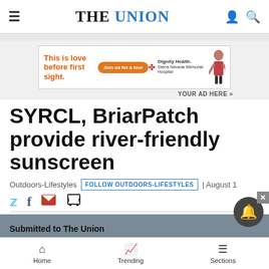THE UNION
[Figure (other): Advertisement banner: 'This is love before first sight.' with orange Join us for a tour button, Dignity Health Sierra Nevada Memorial Hospital logo, and person illustration]
YOUR AD HERE »
SYRCL, BriarPatch provide river-friendly sunscreen
Outdoors-Lifestyles  FOLLOW OUTDOORS-LIFESTYLES  | August 1
Submitted to The Union